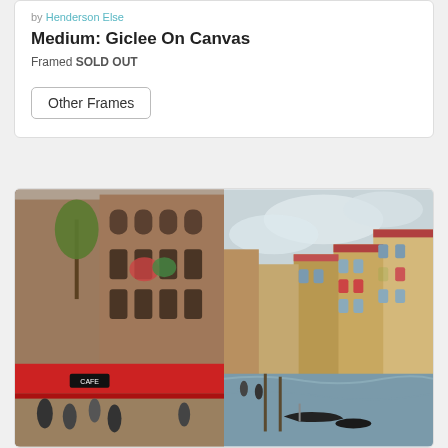by Henderson Else
Medium: Giclee On Canvas
Framed SOLD OUT
Other Frames
[Figure (photo): Two paintings side by side: left shows a European street cafe scene with red awnings and people; right shows the Grand Canal in Venice with gondolas and colorful buildings along the waterfront.]